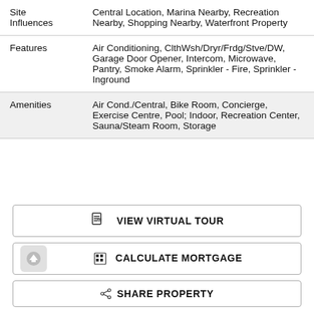|  |  |
| --- | --- |
| Site Influences | Central Location, Marina Nearby, Recreation Nearby, Shopping Nearby, Waterfront Property |
| Features | Air Conditioning, ClthWsh/Dryr/Frdg/Stve/DW, Garage Door Opener, Intercom, Microwave, Pantry, Smoke Alarm, Sprinkler - Fire, Sprinkler - Inground |
| Amenities | Air Cond./Central, Bike Room, Concierge, Exercise Centre, Pool; Indoor, Recreation Center, Sauna/Steam Room, Storage |
VIEW VIRTUAL TOUR
CALCULATE MORTGAGE
SHARE PROPERTY